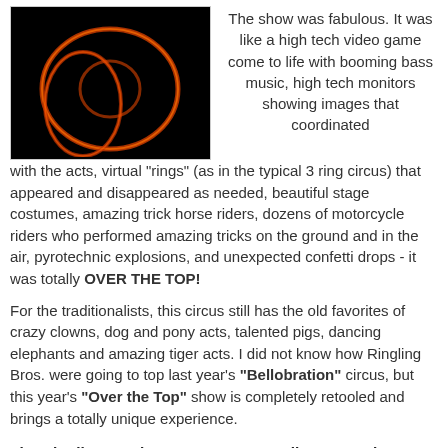[Figure (photo): Dark photo of glowing orange/red circular rings or hoop shapes on a black background, likely a circus performance.]
The show was fabulous. It was like a high tech video game come to life with booming bass music, high tech monitors showing images that coordinated with the acts, virtual "rings" (as in the typical 3 ring circus) that appeared and disappeared as needed, beautiful stage costumes, amazing trick horse riders, dozens of motorcycle riders who performed amazing tricks on the ground and in the air, pyrotechnic explosions, and unexpected confetti drops - it was totally OVER THE TOP!
For the traditionalists, this circus still has the old favorites of crazy clowns, dog and pony acts, talented pigs, dancing elephants and amazing tiger acts. I did not know how Ringling Bros. were going to top last year's "Bellobration" circus, but this year's "Over the Top" show is completely retooled and brings a totally unique experience.
The Ringling Brothers & Barnum & Bailey "Over the